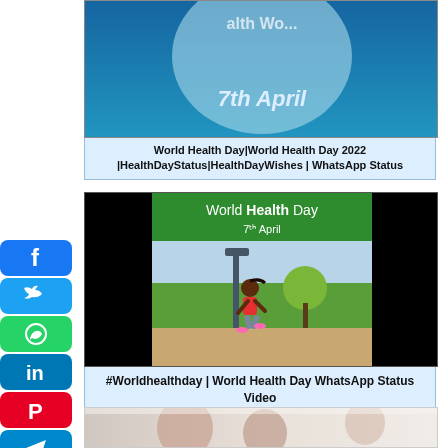[Figure (screenshot): World Health Day social media video thumbnail with blue background and '7th April' text]
World Health Day|World Health Day 2022 |HealthDayStatus|HealthDayWishes | WhatsApp Status
[Figure (screenshot): World Health Day video thumbnail showing animated runner in park with green banner reading 'World Health Day 7th April']
#Worldhealthday | World Health Day WhatsApp Status Video
[Figure (photo): Medical photo showing people in a healthcare setting, partially visible at bottom of page]